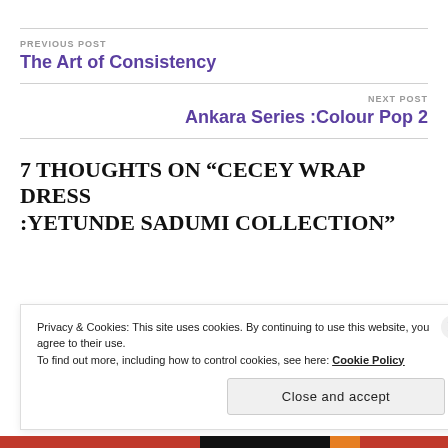PREVIOUS POST
The Art of Consistency
NEXT POST
Ankara Series :Colour Pop 2
7 THOUGHTS ON “CECEY WRAP DRESS :YETUNDE SADUMI COLLECTION”
Privacy & Cookies: This site uses cookies. By continuing to use this website, you agree to their use. To find out more, including how to control cookies, see here: Cookie Policy